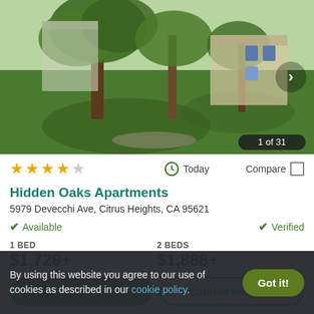[Figure (photo): Exterior photo of Hidden Oaks Apartments showing a landscaped yard with large oak trees and apartment building in the background. Photo counter shows '1 of 31'.]
★★★★☆  Today  Compare
Hidden Oaks Apartments
5979 Devecchi Ave, Citrus Heights, CA 95621
✔ Available  ✔ Verified
1 BED
$1,729+
2 BEDS
$1,888+
By using this website you agree to our use of cookies as described in our cookie policy.